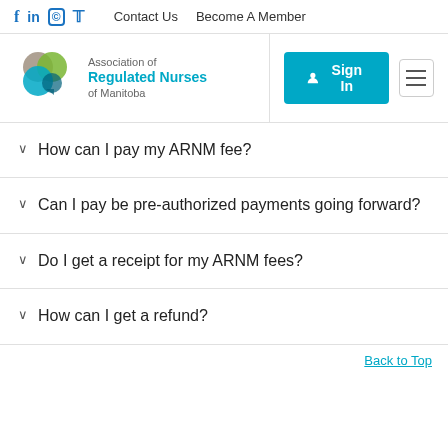f in © ♥  Contact Us  Become A Member
[Figure (logo): Association of Regulated Nurses of Manitoba logo with overlapping colorful circles (grey, green, teal)]
How can I pay my ARNM fee?
Can I pay be pre-authorized payments going forward?
Do I get a receipt for my ARNM fees?
How can I get a refund?
Back to Top